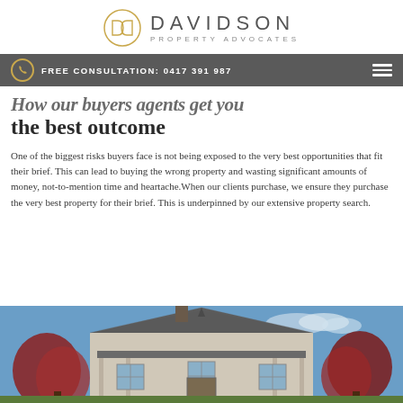[Figure (logo): Davidson Property Advocates logo with circular monogram and wordmark]
FREE CONSULTATION: 0417 391 987
How our buyers agents get you the best outcome
One of the biggest risks buyers face is not being exposed to the very best opportunities that fit their brief. This can lead to buying the wrong property and wasting significant amounts of money, not-to-mention time and heartache.When our clients purchase, we ensure they purchase the very best property for their brief. This is underpinned by our extensive property search.
[Figure (photo): Exterior photo of a large heritage Victorian home with ornate roof, red ornamental trees, against a blue sky]